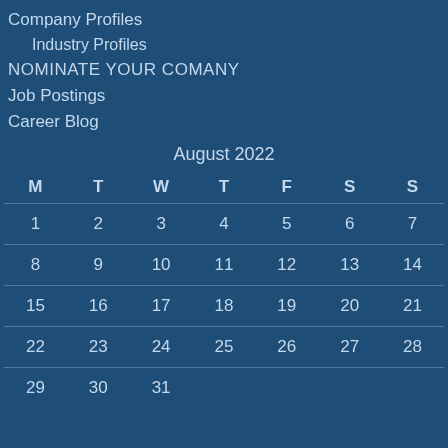Company Profiles
Industry Profiles
NOMINATE YOUR COMANY
Job Postings
Career Blog
| M | T | W | T | F | S | S |
| --- | --- | --- | --- | --- | --- | --- |
| 1 | 2 | 3 | 4 | 5 | 6 | 7 |
| 8 | 9 | 10 | 11 | 12 | 13 | 14 |
| 15 | 16 | 17 | 18 | 19 | 20 | 21 |
| 22 | 23 | 24 | 25 | 26 | 27 | 28 |
| 29 | 30 | 31 |  |  |  |  |